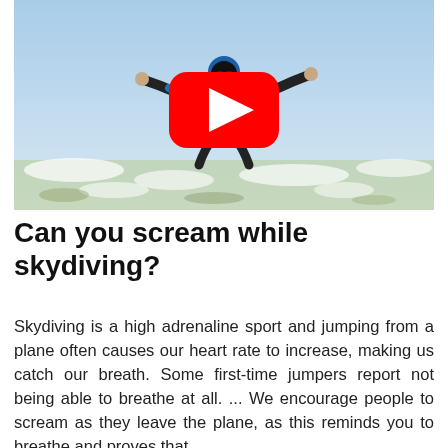[Figure (photo): Skydiving photo showing two people in freefall high above clouds and landscape, with a red YouTube play button overlay in the center.]
Can you scream while skydiving?
Skydiving is a high adrenaline sport and jumping from a plane often causes our heart rate to increase, making us catch our breath. Some first-time jumpers report not being able to breathe at all. ... We encourage people to scream as they leave the plane, as this reminds you to breathe and proves that